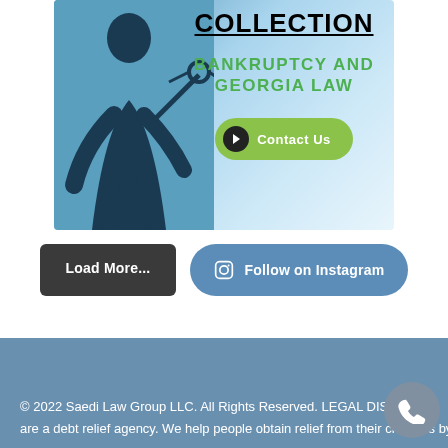[Figure (illustration): Law firm promotional card showing a silhouette figure with scales of justice on a blue gradient background. Text reads 'COLLECTION' in bold black underlined letters and 'BANKRUPTCY AND GEORGIA LAW' in green uppercase letters. A green 'Contact Us' button with black arrow circle is shown.]
Load More...
Follow on Instagram
© 2022 Saedi Law Group LLC. All Rights Reserved. LEGAL DISCLAIM are a debt relief agency. We help people obtain relief from their creditors by